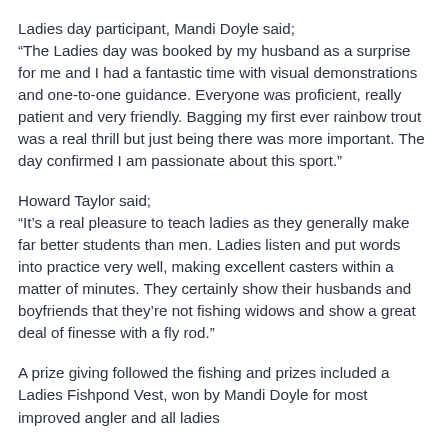Ladies day participant, Mandi Doyle said;
“The Ladies day was booked by my husband as a surprise for me and I had a fantastic time with visual demonstrations and one-to-one guidance. Everyone was proficient, really patient and very friendly. Bagging my first ever rainbow trout was a real thrill but just being there was more important. The day confirmed I am passionate about this sport."
Howard Taylor said;
“It’s a real pleasure to teach ladies as they generally make far better students than men. Ladies listen and put words into practice very well, making excellent casters within a matter of minutes. They certainly show their husbands and boyfriends that they’re not fishing widows and show a great deal of finesse with a fly rod."
A prize giving followed the fishing and prizes included a Ladies Fishpond Vest, won by Mandi Doyle for most improved angler and all ladies